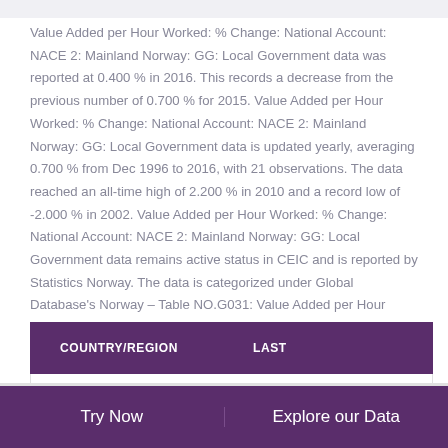Value Added per Hour Worked: % Change: National Account: NACE 2: Mainland Norway: GG: Local Government data was reported at 0.400 % in 2016. This records a decrease from the previous number of 0.700 % for 2015. Value Added per Hour Worked: % Change: National Account: NACE 2: Mainland Norway: GG: Local Government data is updated yearly, averaging 0.700 % from Dec 1996 to 2016, with 21 observations. The data reached an all-time high of 2.200 % in 2010 and a record low of -2.000 % in 2002. Value Added per Hour Worked: % Change: National Account: NACE 2: Mainland Norway: GG: Local Government data remains active status in CEIC and is reported by Statistics Norway. The data is categorized under Global Database's Norway – Table NO.G031: Value Added per Hour Worked: Percentage Change: ESA 2010.
| COUNTRY/REGION | LAST |
| --- | --- |
Try Now   Explore our Data